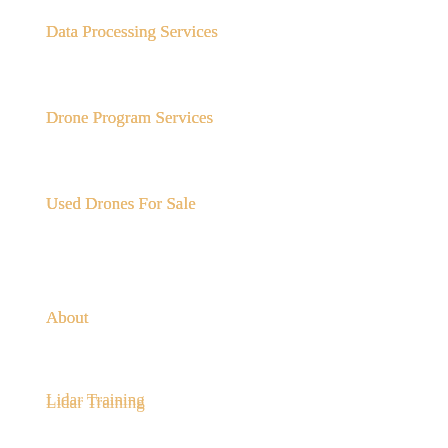Data Processing Services
Drone Program Services
Used Drones For Sale
About
Lidar Training
Map Training
Training Events
Support
About Us
Strategic Partners